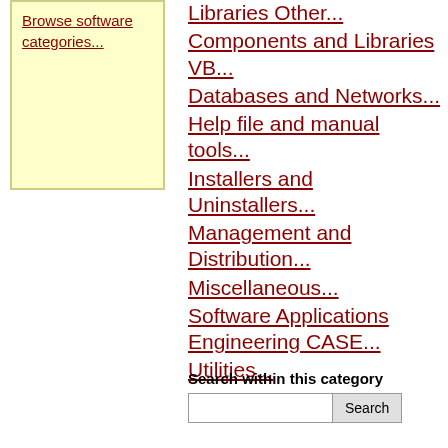Browse software categories...
Libraries Other...
Components and Libraries VB...
Databases and Networks...
Help file and manual tools...
Installers and Uninstallers...
Management and Distribution...
Miscellaneous...
Software Applications Engineering CASE...
Utilities...
Search within this category